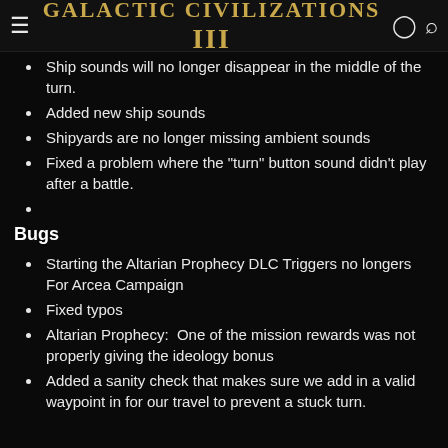Galactic Civilizations III
Ship sounds will no longer disappear in the middle of the turn.
Added new ship sounds
Shipyards are no longer missing ambient sounds
Fixed a problem where the "turn" button sound didn't play after a battle.
Bugs
Starting the Altarian Prophecy DLC Triggers no longers For Arcea Campaign
Fixed typos
Altarian Prophecy:  One of the mission rewards was not properly giving the ideology bonus
Added a sanity check that makes sure we add in a valid waypoint in for our travel to prevent a stuck turn.